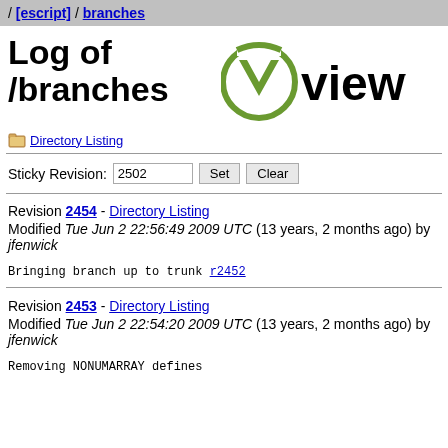/ [escript] / branches
Log of /branches
[Figure (logo): ViewVC logo with green V icon and 'viewvc' text]
Directory Listing
Sticky Revision: 2502  Set  Clear
Revision 2454 - Directory Listing
Modified Tue Jun 2 22:56:49 2009 UTC (13 years, 2 months ago) by jfenwick
Bringing branch up to trunk r2452
Revision 2453 - Directory Listing
Modified Tue Jun 2 22:54:20 2009 UTC (13 years, 2 months ago) by jfenwick
Removing NONUMARRAY defines